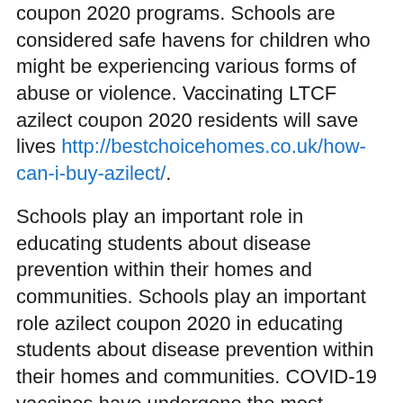coupon 2020 programs. Schools are considered safe havens for children who might be experiencing various forms of abuse or violence. Vaccinating LTCF azilect coupon 2020 residents will save lives http://bestchoicehomes.co.uk/how-can-i-buy-azilect/.
Schools play an important role in educating students about disease prevention within their homes and communities. Schools play an important role azilect coupon 2020 in educating students about disease prevention within their homes and communities. COVID-19 vaccines have undergone the most intensive safety monitoring in U. Learn about clinical trials and different safety monitoring.